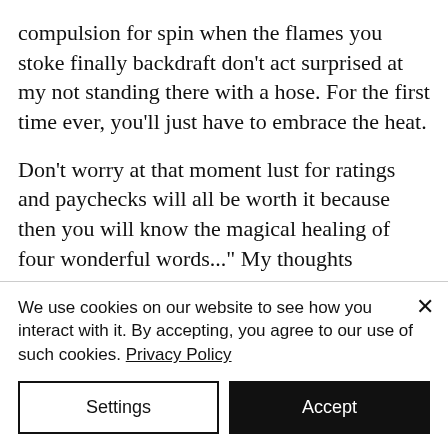compulsion for spin when the flames you stoke finally backdraft don't act surprised at my not standing there with a hose. For the first time ever, you'll just have to embrace the heat.
Don't worry at that moment lust for ratings and paychecks will all be worth it because then you will know the magical healing of four wonderful words..." My thoughts
We use cookies on our website to see how you interact with it. By accepting, you agree to our use of such cookies. Privacy Policy